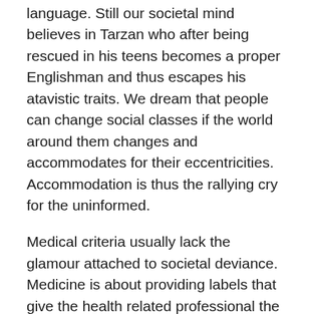language. Still our societal mind believes in Tarzan who after being rescued in his teens becomes a proper Englishman and thus escapes his atavistic traits. We dream that people can change social classes if the world around them changes and accommodates for their eccentricities. Accommodation is thus the rallying cry for the uninformed.
Medical criteria usually lack the glamour attached to societal deviance. Medicine is about providing labels that give the health related professional the illusion at least that they understand a condition and are able to treat the same. Much to the discomfort of those with personality disorders everybody in medicine starts at a level playing field. The mindset of a physician can't be changed by unsubstantiated verbiage. Autism and its comorbidities still remains a medical condition deserving of research and